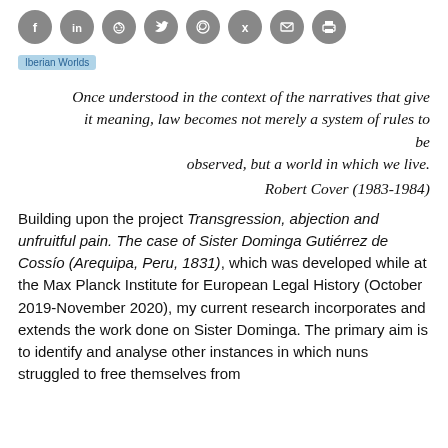[Figure (other): Row of social media sharing icons (Facebook, LinkedIn, Reddit, Twitter, WhatsApp, Xing, Email, Print) as dark grey circles]
Iberian Worlds
Once understood in the context of the narratives that give it meaning, law becomes not merely a system of rules to be observed, but a world in which we live.

Robert Cover (1983-1984)
Building upon the project Transgression, abjection and unfruitful pain. The case of Sister Dominga Gutiérrez de Cossío (Arequipa, Peru, 1831), which was developed while at the Max Planck Institute for European Legal History (October 2019-November 2020), my current research incorporates and extends the work done on Sister Dominga. The primary aim is to identify and analyse other instances in which nuns struggled to free themselves from